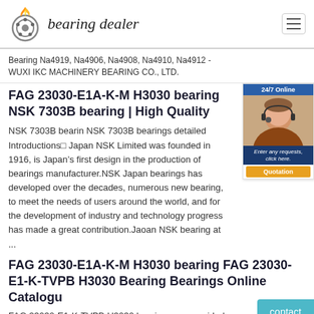bearing dealer
Bearing Na4919, Na4906, Na4908, Na4910, Na4912 - WUXI IKC MACHINERY BEARING CO., LTD.
FAG 23030-E1A-K-M H3030 bearing NSK 7303B bearing | High Quality
NSK 7303B bearin NSK 7303B bearings detailed Introductions□ Japan NSK Limited was founded in 1916, is Japan’s first design in the production of bearings manufacturer.NSK Japan bearings has developed over the decades, numerous new bearing, to meet the needs of users around the world, and for the development of industry and technology progress has made a great contribution.Jaoan NSK bearing at ...
FAG 23030-E1A-K-M H3030 bearing FAG 23030-E1-K-TVPB H3030 Bearing Bearings Online Catalogu
FAG 23030-E1-K-TVPB H3030 bearings are provided